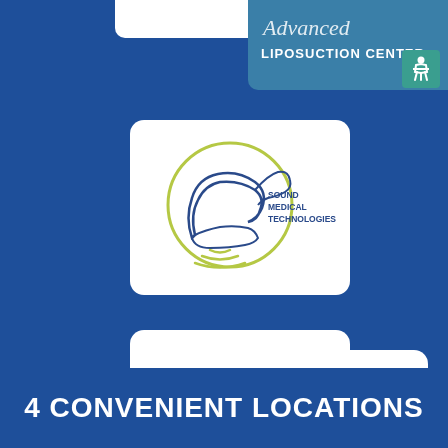[Figure (logo): Partial white card visible at top left - cropped]
[Figure (logo): Advanced Liposuction Center logo with teal background, script text 'Advanced' and 'LIPOSUCTION CENTER' in white]
[Figure (logo): Sound Medical Technologies logo - hand with foot outline circle and sound waves, lime green circle]
[Figure (logo): So FAB - The Fine Arts of Beauty logo with pink lips and stylized FAB lettering]
[Figure (logo): Pittsburgh Medical Mall logo with city skyline silhouette and www.PittsburghMedicalMall.com URL]
4 CONVENIENT LOCATIONS